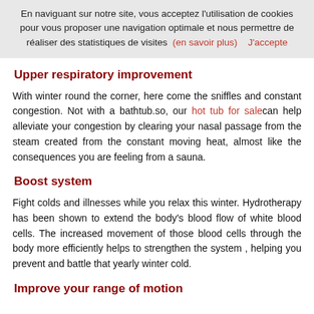En naviguant sur notre site, vous acceptez l'utilisation de cookies pour vous proposer une navigation optimale et nous permettre de réaliser des statistiques de visites (en savoir plus)   J'accepte
Upper respiratory improvement
With winter round the corner, here come the sniffles and constant congestion. Not with a bathtub.so, our hot tub for sale can help alleviate your congestion by clearing your nasal passage from the steam created from the constant moving heat, almost like the consequences you are feeling from a sauna.
Boost system
Fight colds and illnesses while you relax this winter. Hydrotherapy has been shown to extend the body's blood flow of white blood cells. The increased movement of those blood cells through the body more efficiently helps to strengthen the system , helping you prevent and battle that yearly winter cold.
Improve your range of motion